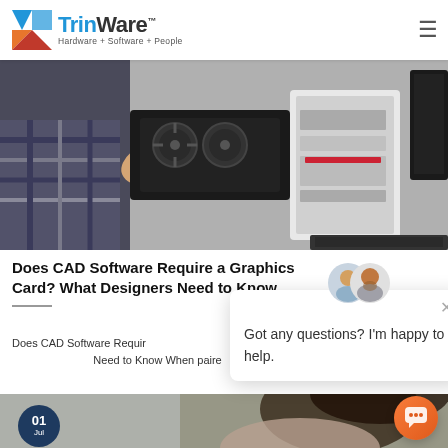TrinWare — Hardware + Software + People
[Figure (photo): Person holding a graphics card next to an open desktop PC tower on a workbench, with a monitor and keyboard in background]
Does CAD Software Require a Graphics Card? What Designers Need to Know
Does CAD Software Require a Graphics Card? What Designers Need to Know When paired...
[Figure (screenshot): Chat popup widget showing two male avatars and the message: Got any questions? I'm happy to help.]
[Figure (photo): Woman with dark hair looking at a computer screen in an office environment]
01 Jul